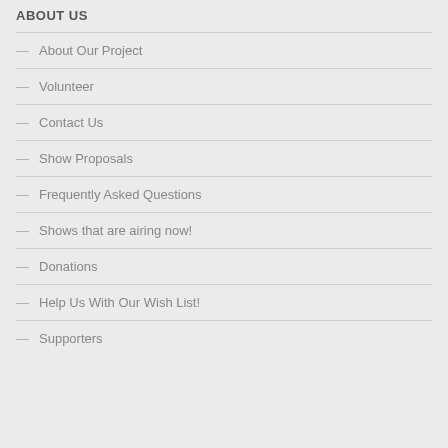ABOUT US
About Our Project
Volunteer
Contact Us
Show Proposals
Frequently Asked Questions
Shows that are airing now!
Donations
Help Us With Our Wish List!
Supporters